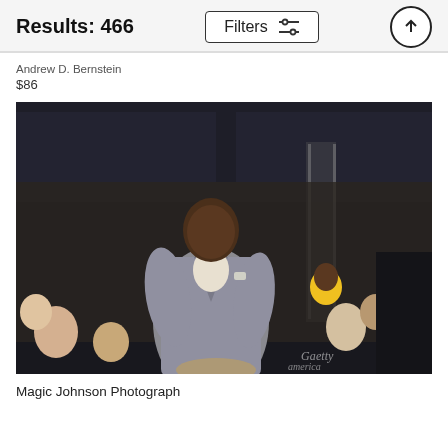Results: 466
Andrew D. Bernstein
$86
[Figure (photo): Magic Johnson wearing a grey pinstripe suit walking through a crowded NBA arena (Staples Center / Lakers game), smiling, with fans and arena seating visible in background]
Magic Johnson Photograph